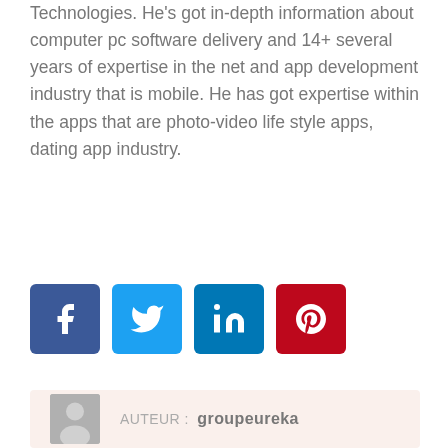Technologies. He's got in-depth information about computer pc software delivery and 14+ several years of expertise in the net and app development industry that is mobile. He has got expertise within the apps that are photo-video life style apps, dating app industry.
[Figure (infographic): Four social media icon buttons: Facebook (blue), Twitter (light blue), LinkedIn (dark blue), Pinterest (red)]
[Figure (infographic): Author box with a grey placeholder avatar image on the left and 'AUTEUR: groupeureka' text label on a light pink/beige background]